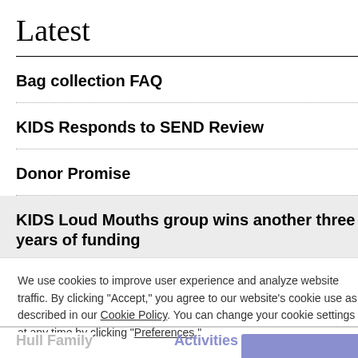Latest
Bag collection FAQ
KIDS Responds to SEND Review
Donor Promise
KIDS Loud Mouths group wins another three years of funding
We use cookies to improve user experience and analyze website traffic. By clicking “Accept,” you agree to our website’s cookie use as described in our Cookie Policy. You can change your cookie settings at any time by clicking “Preferences.”
Related
Hull Family Activities
Accept